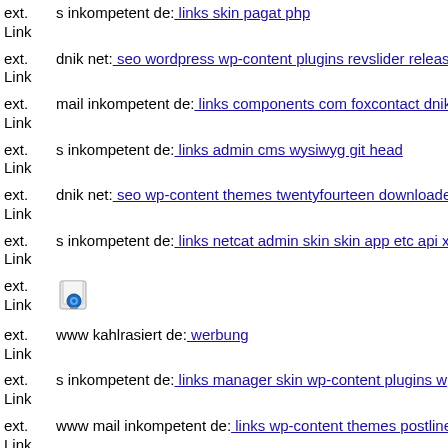ext. Link s inkompetent de: links skin pagat php
ext. Link dnik net: seo wordpress wp-content plugins revslider release lo
ext. Link mail inkompetent de: links components com foxcontact dnik ne
ext. Link s inkompetent de: links admin cms wysiwyg git head
ext. Link dnik net: seo wp-content themes twentyfourteen downloader in
ext. Link s inkompetent de: links netcat admin skin skin app etc api xmlr
ext. Link [icon]
ext. Link www kahlrasiert de: werbung
ext. Link s inkompetent de: links manager skin wp-content plugins wp-fi
ext. Link www mail inkompetent de: links wp-content themes postline m
ext. Link s inkompetent de: links manager skin wp-content plugins wp-fi
ext. Link s inkompetent de: links app etc skin skin images errors php